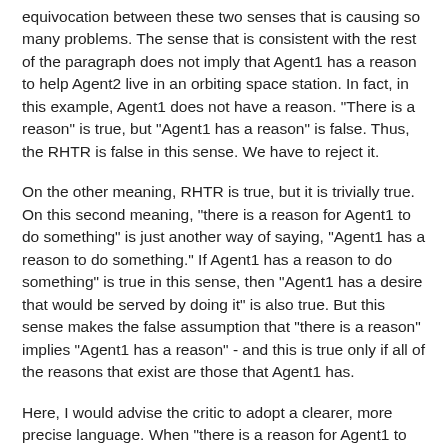equivocation between these two senses that is causing so many problems. The sense that is consistent with the rest of the paragraph does not imply that Agent1 has a reason to help Agent2 live in an orbiting space station. In fact, in this example, Agent1 does not have a reason. "There is a reason" is true, but "Agent1 has a reason" is false. Thus, the RHTR is false in this sense. We have to reject it.
On the other meaning, RHTR is true, but it is trivially true. On this second meaning, "there is a reason for Agent1 to do something" is just another way of saying, "Agent1 has a reason to do something." If Agent1 has a reason to do something" is true in this sense, then "Agent1 has a desire that would be served by doing it" is also true. But this sense makes the false assumption that "there is a reason" implies "Agent1 has a reason" - and this is true only if all of the reasons that exist are those that Agent1 has.
Here, I would advise the critic to adopt a clearer, more precise language. When "there is a reason for Agent1 to do something" means "Agent1 has a reason", then say so, and quit using the phrase "there is a reason".